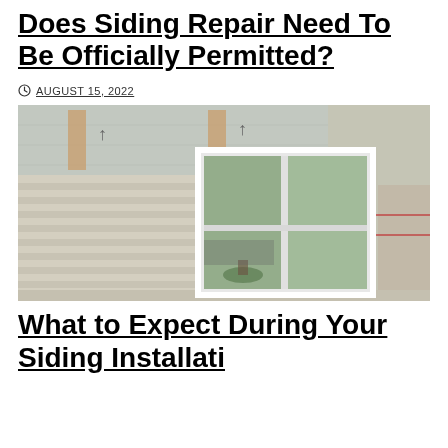Does Siding Repair Need To Be Officially Permitted?
AUGUST 15, 2022
[Figure (photo): A house exterior showing vinyl siding installation in progress. Left side has light beige/tan horizontal vinyl siding installed. Center and right show a white-framed window and house wrap/weather barrier material above and to the right of the window. Construction arrows (direction markers) visible on the house wrap.]
What to Expect During Your Siding Installation